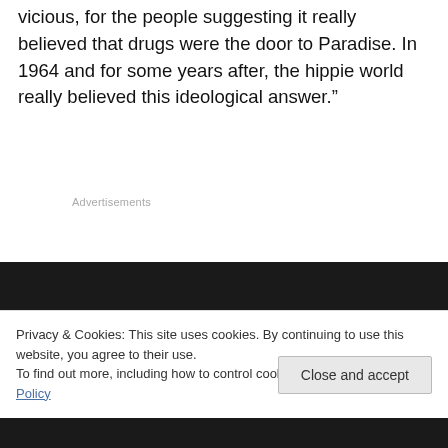vicious, for the people suggesting it really believed that drugs were the door to Paradise. In 1964 and for some years after, the hippie world really believed this ideological answer.”
Advertisements
Privacy & Cookies: This site uses cookies. By continuing to use this website, you agree to their use.
To find out more, including how to control cookies, see here: Cookie Policy
Close and accept